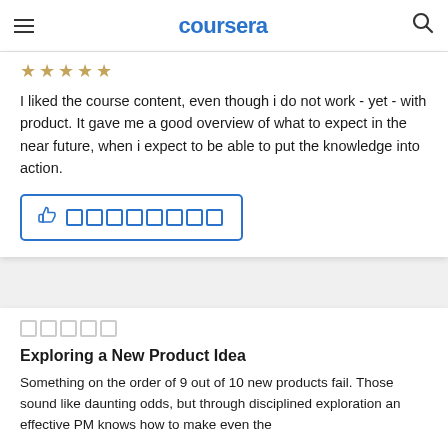coursera
I liked the course content, even though i do not work - yet - with product. It gave me a good overview of what to expect in the near future, when i expect to be able to put the knowledge into action.
[Figure (other): Thumbs up icon with helpful button border and small checkbox squares]
Exploring a New Product Idea
Something on the order of 9 out of 10 new products fail. Those sound like daunting odds, but through disciplined exploration an effective PM knows how to make even the